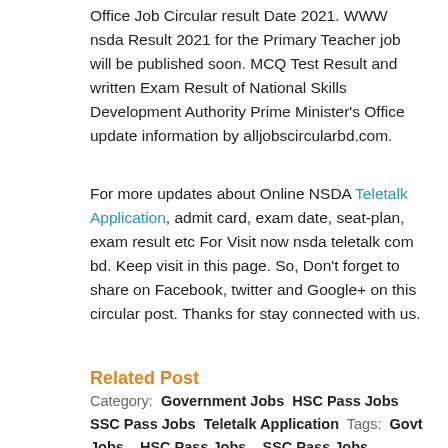Office Job Circular result Date 2021. WWW nsda Result 2021 for the Primary Teacher job will be published soon. MCQ Test Result and written Exam Result of National Skills Development Authority Prime Minister's Office update information by alljobscircularbd.com.
For more updates about Online NSDA Teletalk Application, admit card, exam date, seat-plan, exam result etc For Visit now nsda teletalk com bd. Keep visit in this page. So, Don't forget to share on Facebook, twitter and Google+ on this circular post. Thanks for stay connected with us.
Related Post
Category: Government Jobs  HSC Pass Jobs  SSC Pass Jobs  Teletalk Application  Tags: Govt Jobs ,  HSC Pass Jobs ,  SSC Pass Jobs ,  Teletalk Application